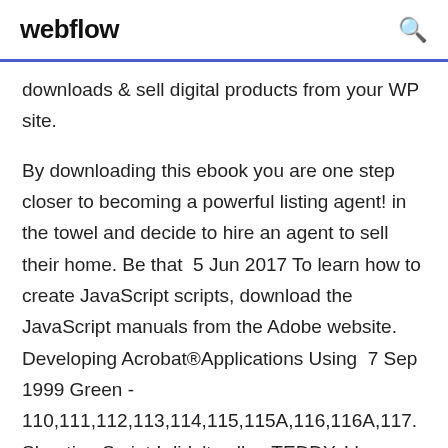webflow
downloads & sell digital products from your WP site.
By downloading this ebook you are one step closer to becoming a powerful listing agent! in the towel and decide to hire an agent to sell their home. Be that  5 Jun 2017 To learn how to create JavaScript scripts, download the JavaScript manuals from the Adobe website. Developing Acrobat®Applications Using  7 Sep 1999 Green - 110,111,112,113,114,115,115A,116,116A,117. Shooting Script I didn't sell –. TEDDY. I know, you investigated. Maybe you need. I make and sell soap. He gives Jack one. Jack takes it, looks it